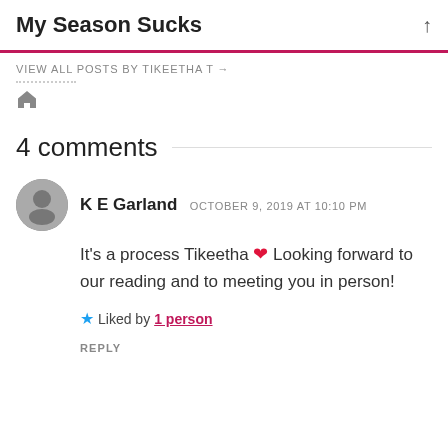My Season Sucks
VIEW ALL POSTS BY TIKEETHA T →
4 comments
K E Garland   OCTOBER 9, 2019 AT 10:10 PM
It's a process Tikeetha ❤ Looking forward to our reading and to meeting you in person!
Liked by 1 person
REPLY